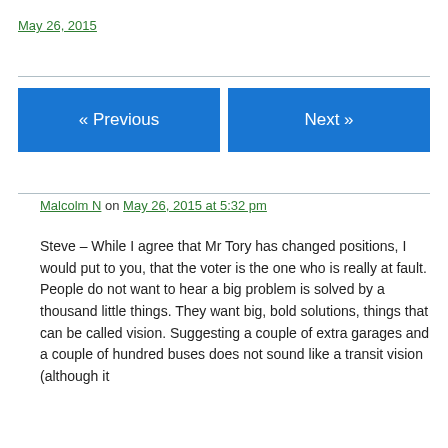May 26, 2015
« Previous
Next »
Malcolm N on May 26, 2015 at 5:32 pm
Steve – While I agree that Mr Tory has changed positions, I would put to you, that the voter is the one who is really at fault. People do not want to hear a big problem is solved by a thousand little things. They want big, bold solutions, things that can be called vision. Suggesting a couple of extra garages and a couple of hundred buses does not sound like a transit vision (although it